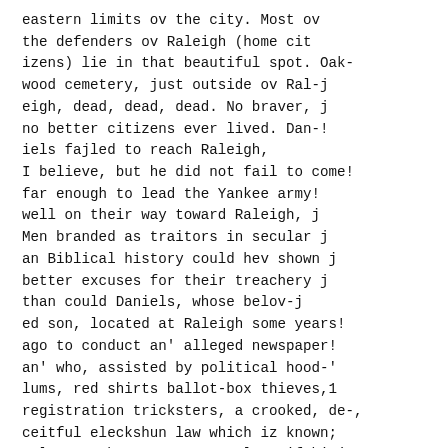eastern limits ov the city. Most ov the defenders ov Raleigh (home cit izens) lie in that beautiful spot. Oak-wood cemetery, just outside ov Ral-j eigh, dead, dead, dead. No braver, j no better citizens ever lived. Dan-! iels fajled to reach Raleigh, I believe, but he did not fail to come! far enough to lead the Yankee army! well on their way toward Raleigh, j Men branded as traitors in secular j an Biblical history could hev shown j better excuses for their treachery j than could Daniels, whose belov-j ed son, located at Raleigh some years! ago to conduct an' alleged newspaper! an' who, assisted by political hood-' lums, red shirts ballot-box thieves,1 registration tricksters, a crooked, de-, ceitful eleckshun law which iz known; awl over the country az a law, if hitj even deserves the name ov a law, I man political trickery, though hit wuz gotten up to bear (in appear